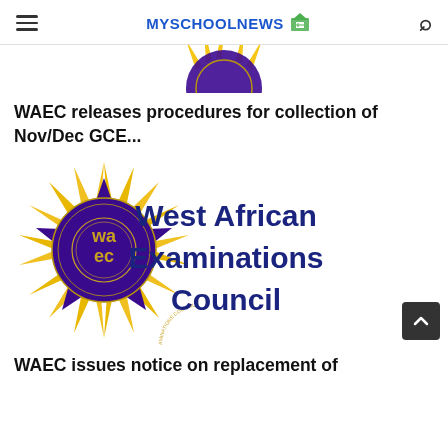MYSCHOOLNEWS
[Figure (illustration): Partial top of WAEC starburst logo cropped at top of page]
WAEC releases procedures for collection of Nov/Dec GCE...
[Figure (logo): West African Examinations Council (WAEC) logo — purple starburst with yellow lightning bolts, circular seal with 'waec' text, and bold text reading 'West African Examinations Council' in dark blue]
WAEC issues notice on replacement of